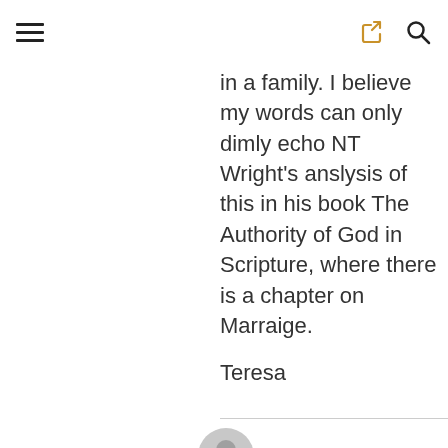[hamburger menu] [share icon] [search icon]
in a family. I believe my words can only dimly echo NT Wright's anslysis of this in his book The Authority of God in Scripture, where there is a chapter on Marraige.
Teresa
[Figure (illustration): Gray circular avatar icon]
Sensible